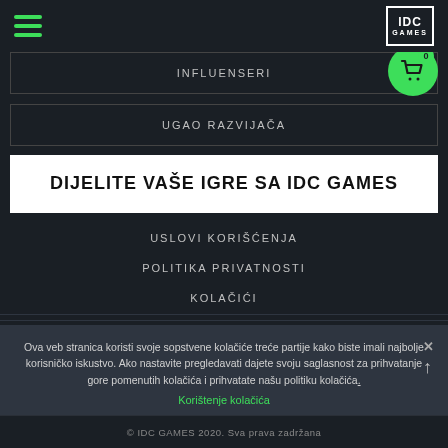IDC GAMES
INFLUENSERI
UGAO RAZVIJAČA
DIJELITE VAŠE IGRE SA IDC GAMES
USLOVI KORIŠĆENJA
POLITIKA PRIVATNOSTI
KOLAČIĆI
Ova veb stranica koristi svoje sopstvene kolačiće treće partije kako biste imali najbolje korisničko iskustvo. Ako nastavite pregledavati dajete svoju saglasnost za prihvatanje gore pomenutih kolačića i prihvatate našu politiku kolačića.
Korištenje kolačića
© IDC GAMES 2020. Sva prava zadržana